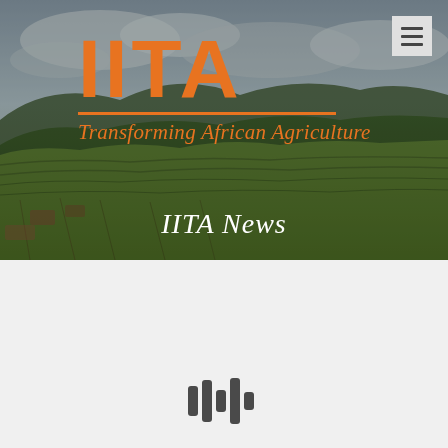[Figure (photo): Aerial view of green terraced agricultural hills and farmland in Africa, with cloudy sky, serving as hero background image]
[Figure (logo): IITA logo in orange bold letters with tagline 'Transforming African Agriculture' in orange italic script below, on top of the landscape photo]
IITA News
[Figure (other): Loading spinner / audio waveform icon consisting of vertical bars of varying heights in dark gray]